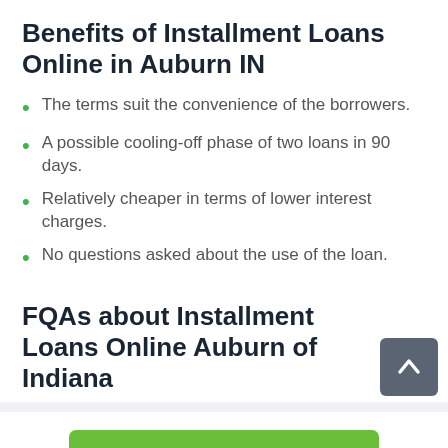Benefits of Installment Loans Online in Auburn IN
The terms suit the convenience of the borrowers.
A possible cooling-off phase of two loans in 90 days.
Relatively cheaper in terms of lower interest charges.
No questions asked about the use of the loan.
FQAs about Installment Loans Online Auburn of Indiana
Apply Now
Applying does NOT affect your credit score!
No credit check to apply.